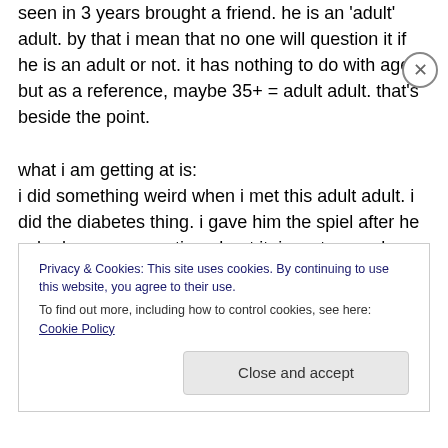seen in 3 years brought a friend. he is an 'adult' adult. by that i mean that no one will question it if he is an adult or not. it has nothing to do with age. but as a reference, maybe 35+ = adult adult. that's beside the point.

what i am getting at is:
i did something weird when i met this adult adult. i did the diabetes thing. i gave him the spiel after he asked me one question about it. i went on and on about the difference between type 1 and 2 and all the good educational stuff about being sensitive and non-ignorant. and here is the thing. i did it in a teachers voice. i controlled the situation
Privacy & Cookies: This site uses cookies. By continuing to use this website, you agree to their use.
To find out more, including how to control cookies, see here: Cookie Policy
Close and accept